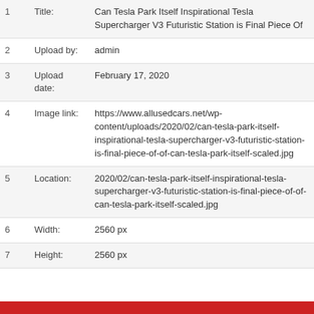| # | Field | Value |
| --- | --- | --- |
| 1 | Title: | Can Tesla Park Itself Inspirational Tesla Supercharger V3 Futuristic Station is Final Piece Of |
| 2 | Upload by: | admin |
| 3 | Upload date: | February 17, 2020 |
| 4 | Image link: | https://www.allusedcars.net/wp-content/uploads/2020/02/can-tesla-park-itself-inspirational-tesla-supercharger-v3-futuristic-station-is-final-piece-of-of-can-tesla-park-itself-scaled.jpg |
| 5 | Location: | 2020/02/can-tesla-park-itself-inspirational-tesla-supercharger-v3-futuristic-station-is-final-piece-of-of-can-tesla-park-itself-scaled.jpg |
| 6 | Width: | 2560 px |
| 7 | Height: | 2560 px |